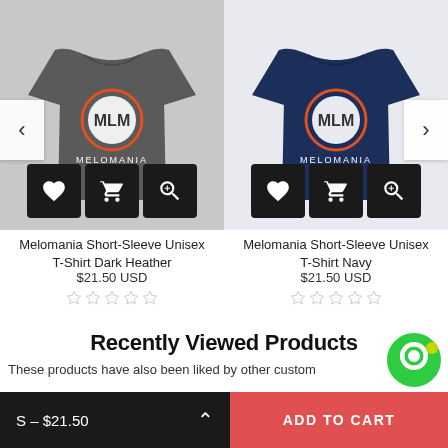[Figure (photo): Melomania short-sleeve t-shirt in dark heather color with MLM logo on front, shown on flat surface]
Melomania Short-Sleeve Unisex T-Shirt Dark Heather
$21.50 USD
[Figure (photo): Melomania short-sleeve t-shirt in navy color with MLM logo on front, shown on flat surface]
Melomania Short-Sleeve Unisex T-Shirt Navy
$21.50 USD
Recently Viewed Products
These products have also been liked by other customers a...
S – $21.50
ADD TO CART